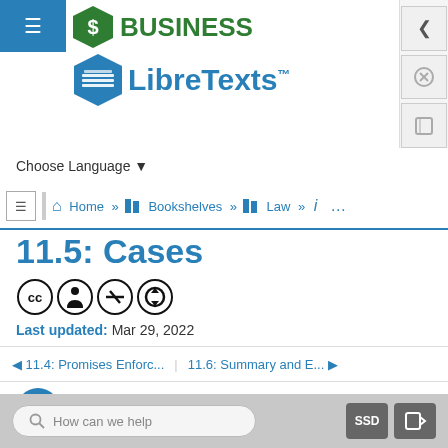[Figure (logo): Business LibreTexts logo with green dollar hexagon and blue book hexagon]
Choose Language
Home » Bookshelves » Law » ...
11.5: Cases
[Figure (illustration): Creative Commons license icons: CC BY-NC-SA]
Last updated: Mar 29, 2022
◄ 11.4: Promises Enforc...   11.6: Summary and E... ►
Anonymous
How can we help